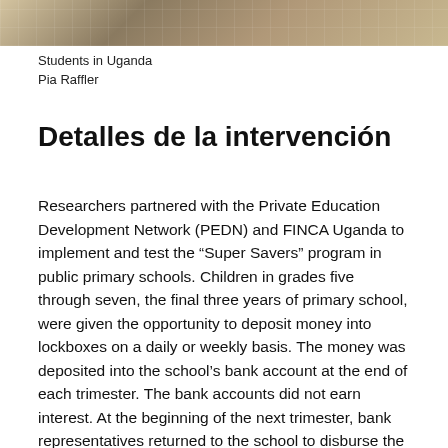[Figure (photo): Photo strip showing students in Uganda at the top of the page]
Students in Uganda
Pia Raffler
Detalles de la intervención
Researchers partnered with the Private Education Development Network (PEDN) and FINCA Uganda to implement and test the “Super Savers” program in public primary schools. Children in grades five through seven, the final three years of primary school, were given the opportunity to deposit money into lockboxes on a daily or weekly basis. The money was deposited into the school’s bank account at the end of each trimester. The bank accounts did not earn interest. At the beginning of the next trimester, bank representatives returned to the school to disburse the funds. On the day the funds were paid out, PEDN...